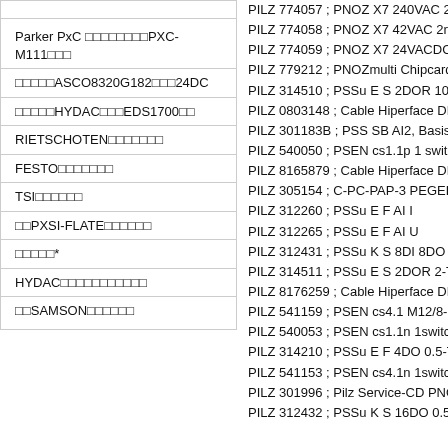Parker PxC □□□□□□□□PXC-M111□□□
□□□□□ASCO8320G182□□□24DC
□□□□□HYDAC□□□EDS1700□□
RIETSCHOTEN□□□□□□□
FESTO□□□□□□□
TSI□□□□□□
□□PXSI-FLATE□□□□□□
□□□□□*
HYDAC□□□□□□□□□□□
□□SAMSON□□□□□□
PILZ 774057 ; PNOZ X7 240VAC 2n/o
PILZ 774058 ; PNOZ X7 42VAC 2n/o
PILZ 774059 ; PNOZ X7 24VACDC 2n/o
PILZ 779212 ; PNOZmulti Chipcard Set 1
PILZ 314510 ; PSSu E S 2DOR 10-T
PILZ 0803148 ; Cable Hiperface DD4plug
PILZ 301183B ; PSS SB AI2, Basislizenz
PILZ 540050 ; PSEN cs1.1p 1 switch
PILZ 8165879 ; Cable Hiperface DD4plug
PILZ 305154 ; C-PC-PAP-3 PEGELANP.
PILZ 312260 ; PSSu E F AI I
PILZ 312265 ; PSSu E F AI U
PILZ 312431 ; PSSu K S 8DI 8DO 0.5
PILZ 314511 ; PSSu E S 2DOR 2-T
PILZ 8176259 ; Cable Hiperface DD4plug
PILZ 541159 ; PSEN cs4.1 M12/8-0.15m
PILZ 540053 ; PSEN cs1.1n 1switch
PILZ 314210 ; PSSu E F 4DO 0.5-T
PILZ 541153 ; PSEN cs4.1n 1switch
PILZ 301996 ; Pilz Service-CD PNOZ / C
PILZ 312432 ; PSSu K S 16DO 0.5